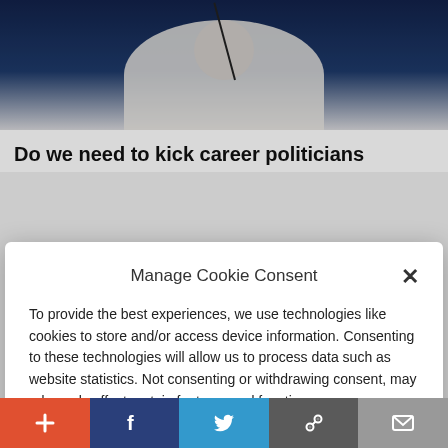[Figure (photo): Photo of a woman at a podium with a microphone, dark blue background, wearing white clothing]
Do we need to kick career politicians
[Figure (screenshot): Manage Cookie Consent modal dialog overlay with Accept button, Cookie Policy and Privacy Policy links]
To provide the best experiences, we use technologies like cookies to store and/or access device information. Consenting to these technologies will allow us to process data such as website statistics. Not consenting or withdrawing consent, may adversely affect certain features and functions.
Accept
Cookie Policy   Privacy Policy
[Figure (photo): Small thumbnail image showing round food items (cookies/biscuits) in tan/brown color]
One Bite of This Keeps Blood Sugar
[Figure (other): Social share bar with plus, Facebook, Twitter, link, and email buttons]